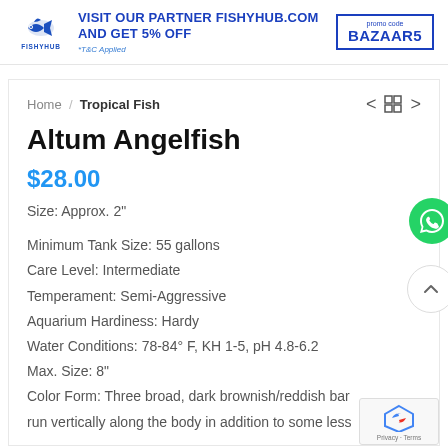[Figure (logo): FishyHub logo with fish icon and text FISHYHUB]
VISIT OUR PARTNER FISHYHUB.COM AND GET 5% OFF
*T&C Applied
promo code
BAAR5
Home / Tropical Fish
Altum Angelfish
$28.00
Size: Approx. 2"
Minimum Tank Size: 55 gallons
Care Level: Intermediate
Temperament: Semi-Aggressive
Aquarium Hardiness: Hardy
Water Conditions: 78-84° F, KH 1-5, pH 4.8-6.2
Max. Size: 8"
Color Form: Three broad, dark brownish/reddish bar run vertically along the body in addition to some less